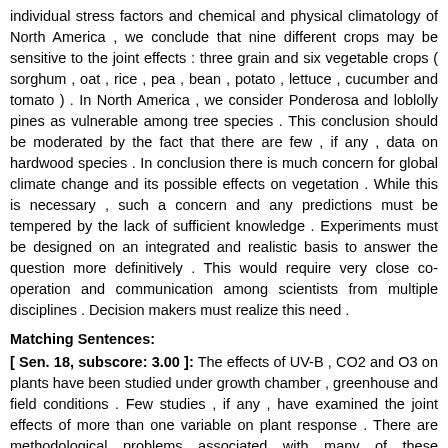individual stress factors and chemical and physical climatology of North America , we conclude that nine different crops may be sensitive to the joint effects : three grain and six vegetable crops ( sorghum , oat , rice , pea , bean , potato , lettuce , cucumber and tomato ) . In North America , we consider Ponderosa and loblolly pines as vulnerable among tree species . This conclusion should be moderated by the fact that there are few , if any , data on hardwood species . In conclusion there is much concern for global climate change and its possible effects on vegetation . While this is necessary , such a concern and any predictions must be tempered by the lack of sufficient knowledge . Experiments must be designed on an integrated and realistic basis to answer the question more definitively . This would require very close co-operation and communication among scientists from multiple disciplines . Decision makers must realize this need .
Matching Sentences:
[ Sen. 18, subscore: 3.00 ]: The effects of UV-B , CO2 and O3 on plants have been studied under growth chamber , greenhouse and field conditions . Few studies , if any , have examined the joint effects of more than one variable on plant response . There are methodological problems associated with many of these experiments . Thus , while results obtained from these studies can assist in our understanding , they must be viewed with caution in the context of the real world and predictions into the future . Biomass responses of plants to enhanced UV-B can be negative ( adverse effect ) ; positive ( stimulatory effect ) or no effect ( tolerant ) . Sensitivity rankings have been developed for both crop and tree species . However , such rankings for UV-B do not consider dose-response curves . There are inconsistencies between the results obtained under controlled conditions versus field observations . Some of these inconsistencies appear due to the differences in responses between cultivars and varieties of a given plant species ; and